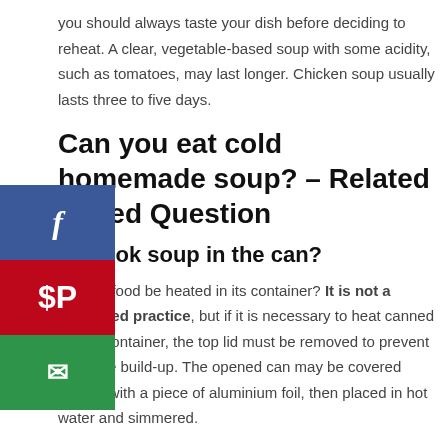you should always taste your dish before deciding to reheat. A clear, vegetable-based soup with some acidity, such as tomatoes, may last longer. Chicken soup usually lasts three to five days.
Can you eat cold homemade soup? – Related Asked Question
n I cook soup in the can?
canned food be heated in its container? It is not a mmended practice, but if it is necessary to heat canned food e container, the top lid must be removed to prevent pressure build-up. The opened can may be covered loosely with a piece of aluminium foil, then placed in hot water and simmered.
Can you get sick from canned soup?
About botulism poisoning